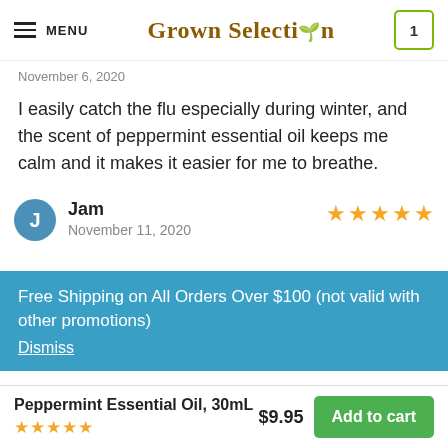MENU | Grown Selection | [cart: 1]
November 6, 2020
I easily catch the flu especially during winter, and the scent of peppermint essential oil keeps me calm and it makes it easier for me to breathe.
Jam — November 11, 2020 — ★★★★★
Free Shipping on All Orders Over $100 (not valid with other promotions)
Dismiss
Peppermint Essential Oil, 30mL ★★★★★ $9.95 Add to cart